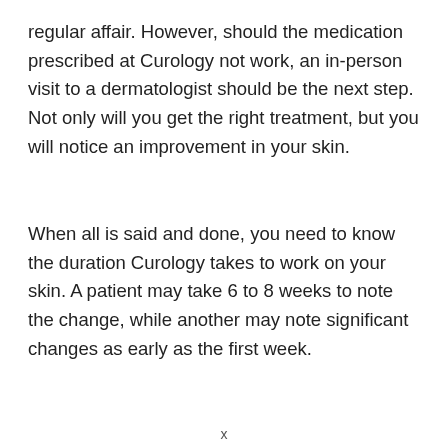regular affair. However, should the medication prescribed at Curology not work, an in-person visit to a dermatologist should be the next step. Not only will you get the right treatment, but you will notice an improvement in your skin.
When all is said and done, you need to know the duration Curology takes to work on your skin. A patient may take 6 to 8 weeks to note the change, while another may note significant changes as early as the first week.
x